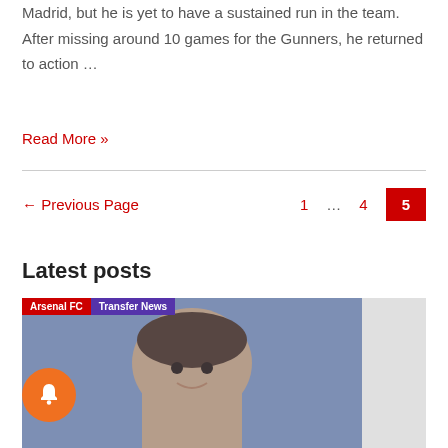Madrid, but he is yet to have a sustained run in the team. After missing around 10 games for the Gunners, he returned to action …
Read More »
← Previous Page   1   …   4   5
Latest posts
[Figure (photo): Photo of a man with tags Arsenal FC and Transfer News overlaid at top left]
[Figure (other): Orange circular notification bell button]